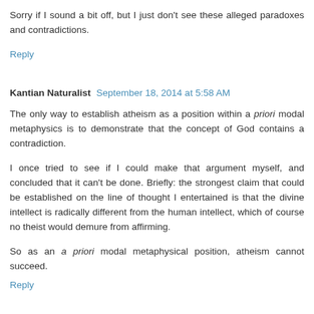Sorry if I sound a bit off, but I just don't see these alleged paradoxes and contradictions.
Reply
Kantian Naturalist  September 18, 2014 at 5:58 AM
The only way to establish atheism as a position within a priori modal metaphysics is to demonstrate that the concept of God contains a contradiction.
I once tried to see if I could make that argument myself, and concluded that it can't be done. Briefly: the strongest claim that could be established on the line of thought I entertained is that the divine intellect is radically different from the human intellect, which of course no theist would demure from affirming.
So as an a priori modal metaphysical position, atheism cannot succeed.
Reply